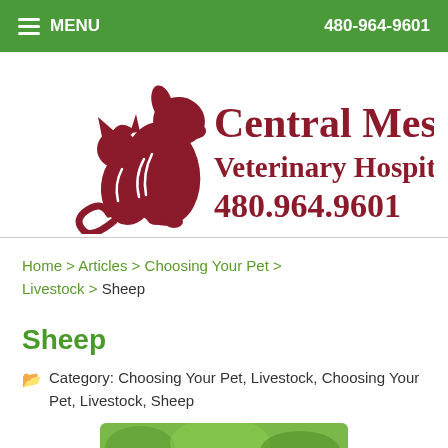MENU  480-964-9601
[Figure (logo): Central Mesa Veterinary Hospital logo with illustrated cat and dog silhouette, text: Central Mesa Veterinary Hospital 480.964.9601]
Home > Articles > Choosing Your Pet > Livestock > Sheep
Sheep
Category: Choosing Your Pet, Livestock, Choosing Your Pet, Livestock, Sheep
[Figure (photo): Partial photo of a sheep, cropped at bottom of page]